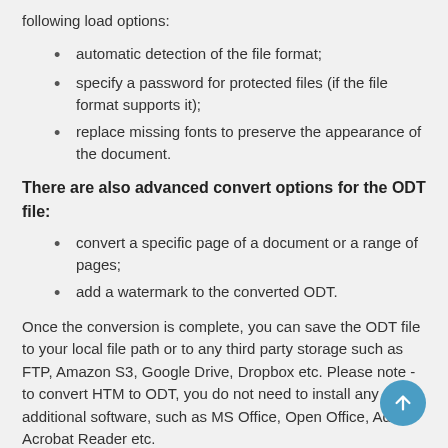following load options:
automatic detection of the file format;
specify a password for protected files (if the file format supports it);
replace missing fonts to preserve the appearance of the document.
There are also advanced convert options for the ODT file:
convert a specific page of a document or a range of pages;
add a watermark to the converted ODT.
Once the conversion is complete, you can save the ODT file to your local file path or to any third party storage such as FTP, Amazon S3, Google Drive, Dropbox etc. Please note - to convert HTM to ODT, you do not need to install any additional software, such as MS Office, Open Office, Adobe Acrobat Reader etc.